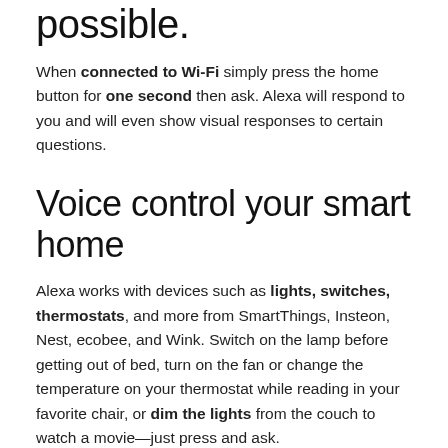possible.
When connected to Wi-Fi simply press the home button for one second then ask. Alexa will respond to you and will even show visual responses to certain questions.
Voice control your smart home
Alexa works with devices such as lights, switches, thermostats, and more from SmartThings, Insteon, Nest, ecobee, and Wink. Switch on the lamp before getting out of bed, turn on the fan or change the temperature on your thermostat while reading in your favorite chair, or dim the lights from the couch to watch a movie—just press and ask.
Everyday made easier